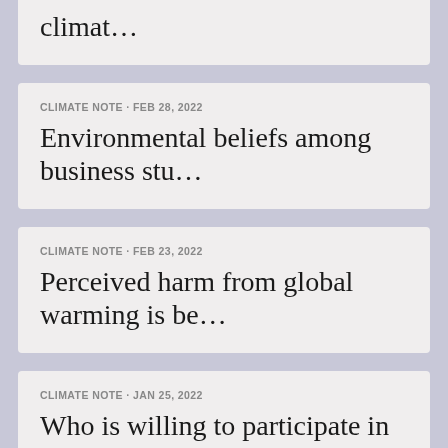climat…
CLIMATE NOTE · FEB 28, 2022
Environmental beliefs among business stu…
CLIMATE NOTE · FEB 23, 2022
Perceived harm from global warming is be…
CLIMATE NOTE · JAN 25, 2022
Who is willing to participate in non-vio…